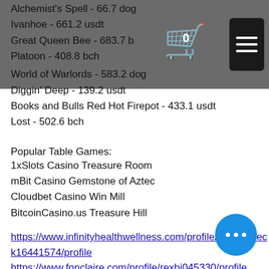Alchemist's Spell - 66.7 dog
Ivanhoe - 661.2 usdt
Great Queen Bee - 683.7 b
Platoon - 408.8 bch
World of Warlords - 583.2 dog
Diggin' Deep - 139.2 usdt
Books and Bulls Red Hot Firepot - 433.1 usdt
Lost - 502.6 bch
Popular Table Games:
1xSlots Casino Treasure Room
mBit Casino Gemstone of Aztec
Cloudbet Casino Win Mill
BitcoinCasino.us Treasure Hill
https://www.infinityhealthwellness.com/profile/parisdubeck16441574/profile
https://www.fonclaire.com/profile/rexbi045330/profile
https://www.aubreyco.org/profile/franciscogla